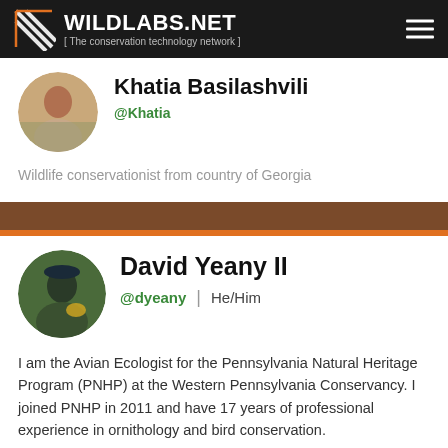WILDLABS.NET [ The conservation technology network ]
Khatia Basilashvili
@Khatia
Wildlife conservationist from country of Georgia
David Yeany II
@dyeany | He/Him
I am the Avian Ecologist for the Pennsylvania Natural Heritage Program (PNHP) at the Western Pennsylvania Conservancy. I joined PNHP in 2011 and have 17 years of professional experience in ornithology and bird conservation.